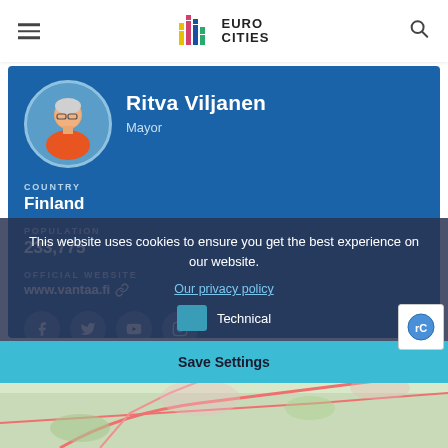EURO CITIES
Ritva Viljanen
Mayor
COUNTRY
Finland
POPULATION
233,775
OFFICIAL WEBSITE
www.vantaa.fi
This website uses cookies to ensure you get the best experience on our website.
Our privacy policy
Technical
Save Settings
[Figure (map): Map showing Vantaa region, Finland, with roads and terrain]